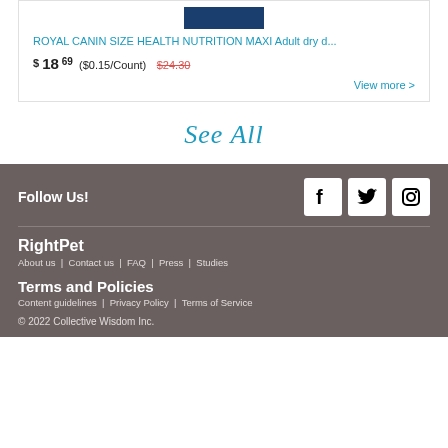ROYAL CANIN SIZE HEALTH NUTRITION MAXI Adult dry d...
$18.69 ($0.15/Count) $24.30
View more >
See All
Follow Us!
[Figure (other): Social media icons: Facebook, Twitter, Instagram]
RightPet
About us   Contact us   FAQ   Press   Studies
Terms and Policies
Content guidelines   Privacy Policy   Terms of Service
© 2022 Collective Wisdom Inc.